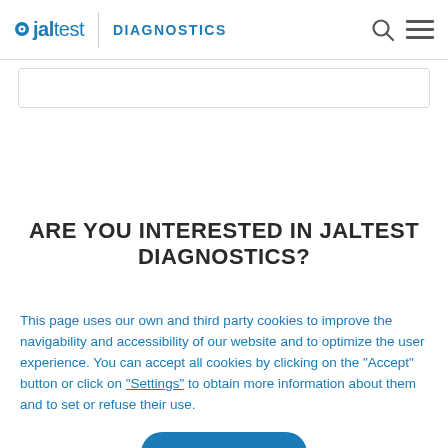jaltest DIAGNOSTICS
ARE YOU INTERESTED IN JALTEST DIAGNOSTICS?
This page uses our own and third party cookies to improve the navigability and accessibility of our website and to optimize the user experience. You can accept all cookies by clicking on the "Accept" button or click on "Settings" to obtain more information about them and to set or refuse their use.
ACCEPT